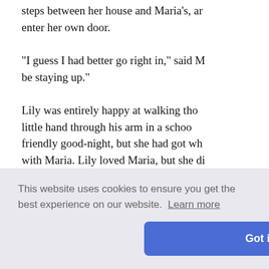steps between her house and Maria's, and she was glad to enter her own door.
"I guess I had better go right in," said M... be staying up."
Lily was entirely happy at walking tho... little hand through his arm in a schoo... friendly good-night, but she had got wh... with Maria. Lily loved Maria, but she di...
When Lily entered the house, to her gr... seated beside her mother, who was lying...
you sick... ; with the...
supper, a... She sigh... was, in fa...
This website uses cookies to ensure you get the best experience on our website. Learn more
Got it!